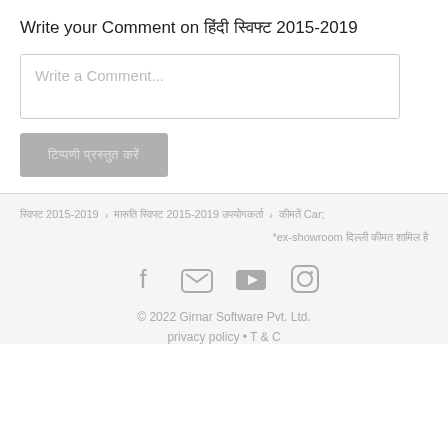Write your Comment on हिंदी स्विफ्ट 2015-2019
Write a Comment...
टिप्पणी प्रस्तुत करें
स्विफ्ट 2015-2019 › मारुति स्विफ्ट 2015-2019 उपयोगकर्ता › कीमतें Car;
*ex-showroom दिल्ली कीमत शामिल है
© 2022 Girnar Software Pvt. Ltd.
privacy policy • T & C